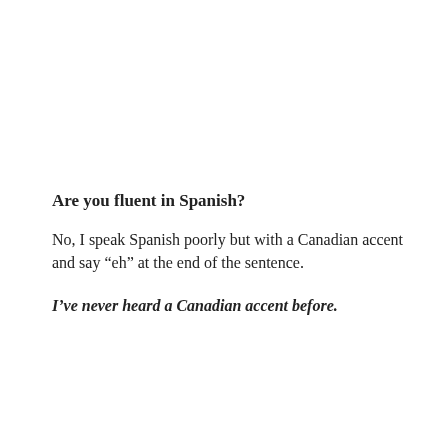Are you fluent in Spanish?
No, I speak Spanish poorly but with a Canadian accent and say “eh” at the end of the sentence.
I’ve never heard a Canadian accent before.